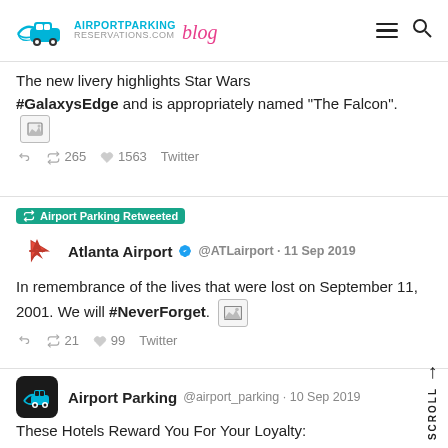[Figure (logo): AirportParkingReservations.com blog logo with car icon]
The new livery highlights Star Wars #GalaxysEdge and is appropriately named "The Falcon".
↩ 🔁 265 ❤ 1563 Twitter
Airport Parking Retweeted
Atlanta Airport @ATLairport · 11 Sep 2019
In remembrance of the lives that were lost on September 11, 2001. We will #NeverForget.
↩ 🔁 21 ❤ 99 Twitter
Airport Parking @airport_parking · 10 Sep 2019
These Hotels Reward You For Your Loyalty:
https://t.co/IQ5QRh3juN…